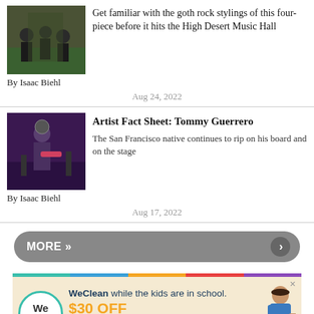[Figure (photo): Group of people outdoors in dark clothing near trees]
Get familiar with the goth rock stylings of this four-piece before it hits the High Desert Music Hall
By Isaac Biehl
Aug 24, 2022
[Figure (photo): Guitarist performing on stage with purple lighting]
Artist Fact Sheet: Tommy Guerrero
The San Francisco native continues to rip on his board and on the stage
By Isaac Biehl
Aug 17, 2022
MORE »
[Figure (infographic): WeClean advertisement: WeClean while the kids are in school. $30 OFF USE CODE: Source30. BOOK NOW.]